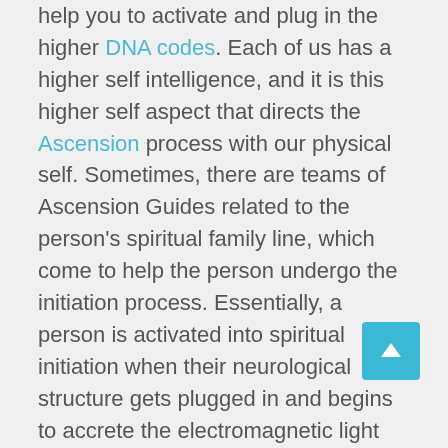help you to activate and plug in the higher DNA codes. Each of us has a higher self intelligence, and it is this higher self aspect that directs the Ascension process with our physical self. Sometimes, there are teams of Ascension Guides related to the person's spiritual family line, which come to help the person undergo the initiation process. Essentially, a person is activated into spiritual initiation when their neurological structure gets plugged in and begins to accrete the electromagnetic light codes and frequencies of the Soul through kundalini activation. Kundalini activation pulls in new neurological structures neural networks that act as energy receivers so person can absorb the new frequencies and intelligence into their auric body. Kundalini